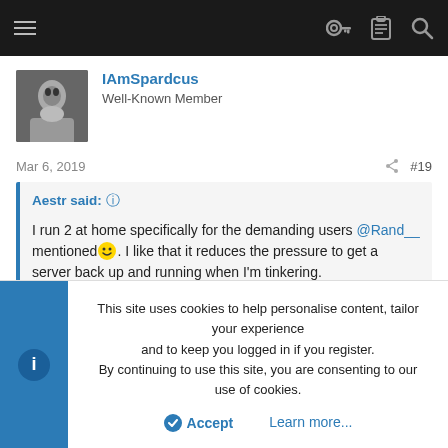IAmSpardcus | Well-Known Member
Mar 6, 2019   #19
Aestr said: ↑

I run 2 at home specifically for the demanding users @Rand__ mentioned 🙂. I like that it reduces the pressure to get a server back up and running when I'm tinkering.

That being said I also have 7 in local colo so saying I have 2 isn't totally honest either.
This site uses cookies to help personalise content, tailor your experience and to keep you logged in if you register.
By continuing to use this site, you are consenting to our use of cookies.
Accept   Learn more...